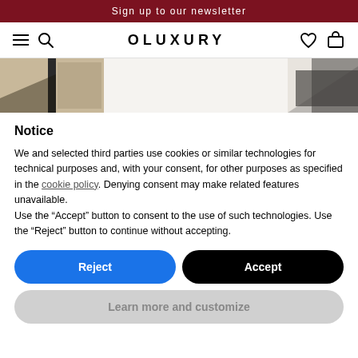Sign up to our newsletter
[Figure (screenshot): Oluxury e-commerce website navigation bar with hamburger menu, search icon, OLUXURY brand name, heart icon, and shopping bag icon]
[Figure (photo): Partial product images of shoes on the Oluxury website]
Notice
We and selected third parties use cookies or similar technologies for technical purposes and, with your consent, for other purposes as specified in the cookie policy. Denying consent may make related features unavailable.
Use the “Accept” button to consent to the use of such technologies. Use the “Reject” button to continue without accepting.
Reject
Accept
Learn more and customize